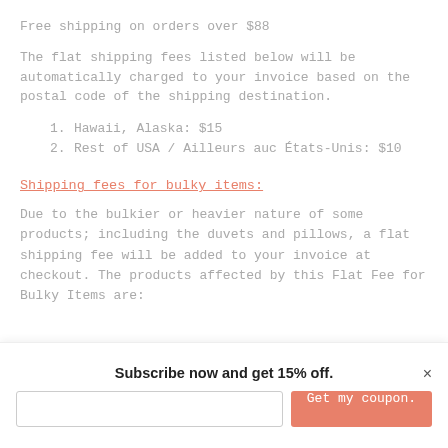Free shipping on orders over $88
The flat shipping fees listed below will be automatically charged to your invoice based on the postal code of the shipping destination.
1. Hawaii, Alaska: $15
2. Rest of USA / Ailleurs auc États-Unis: $10
Shipping fees for bulky items:
Due to the bulkier or heavier nature of some products; including the duvets and pillows, a flat shipping fee will be added to your invoice at checkout. The products affected by this Flat Fee for Bulky Items are:
Subscribe now and get 15% off.